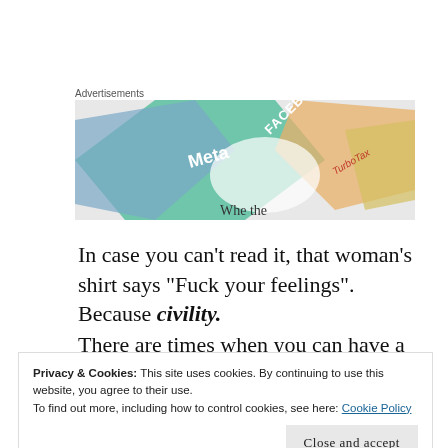Advertisements
[Figure (photo): Advertisement banner showing overlapping card graphics with text including Meta, FACEBOOK, and other brands, with partial text 'Whe the' visible at bottom center.]
In case you can't read it, that woman's shirt says “Fuck your feelings”.  Because civility.
There are times when you can have a reasoned discussion with people who disagree with you.  But we
Privacy & Cookies: This site uses cookies. By continuing to use this website, you agree to their use.
To find out more, including how to control cookies, see here: Cookie Policy
Close and accept
T